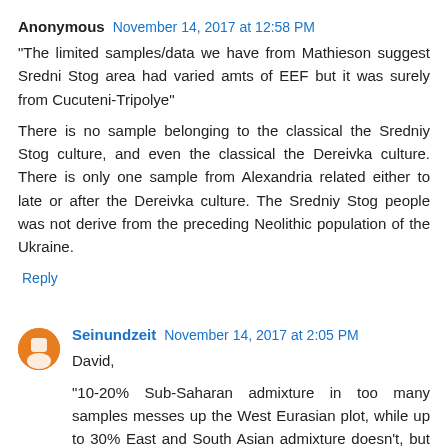Anonymous November 14, 2017 at 12:58 PM
"The limited samples/data we have from Mathieson suggest Sredni Stog area had varied amts of EEF but it was surely from Cucuteni-Tripolye"
There is no sample belonging to the classical the Sredniy Stog culture, and even the classical the Dereivka culture. There is only one sample from Alexandria related either to late or after the Dereivka culture. The Sredniy Stog people was not derive from the preceding Neolithic population of the Ukraine.
Reply
Seinundzeit November 14, 2017 at 2:05 PM
David,
"10-20% Sub-Saharan admixture in too many samples messes up the West Eurasian plot, while up to 30% East and South Asian admixture doesn't, but rather helps to